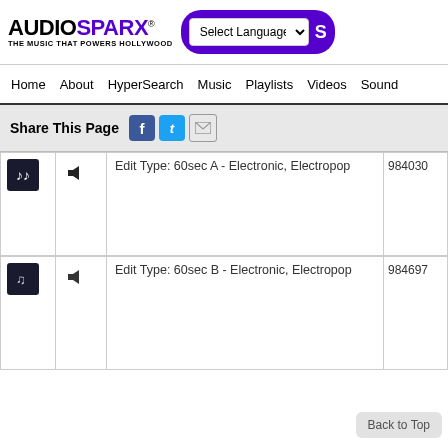[Figure (logo): AudioSparx logo with tagline 'THE MUSIC THAT POWERS HOLLYWOOD']
Select Language
Home  About  HyperSearch  Music  Playlists  Videos  Sound
Share This Page
Edit Type: 60sec A - Electronic, Electropop
984030
Edit Type: 60sec B - Electronic, Electropop
984697